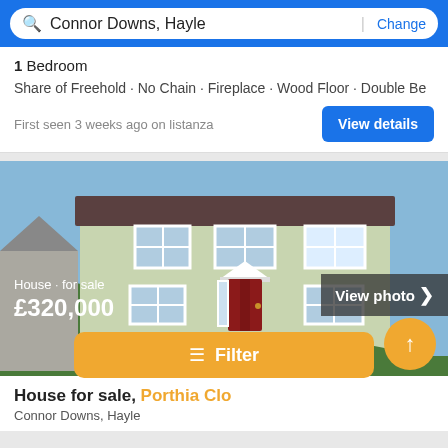Connor Downs, Hayle | Change
1 Bedroom
Share of Freehold · No Chain · Fireplace · Wood Floor · Double Be
First seen 3 weeks ago on listanza
View details
[Figure (photo): Two-storey semi-detached house with green/cream rendered walls, red front door with triangular porch canopy, three rows of windows, surrounded by plants and shrubs]
View photo ›
House · for sale
£320,000
House for sale, Porthia Close
Connor Downs, Hayle
≡ Filter